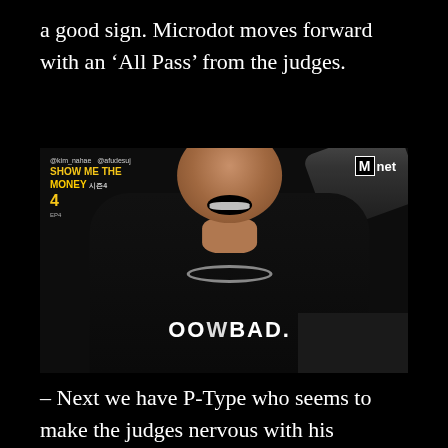a good sign. Microdot moves forward with an 'All Pass' from the judges.
[Figure (screenshot): TV screenshot from Mnet show 'Show Me The Money 4' showing a person laughing, wearing a backward cap and a shirt reading 'OO WBAD.' with chain necklace. Mnet logo visible top right, show branding top left.]
– Next we have P-Type who seems to make the judges nervous with his presence, and with good reason. P-Type has stated that he's not here to simply compete with other